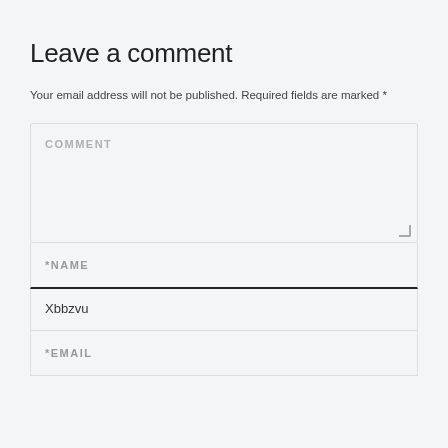Leave a comment
Your email address will not be published. Required fields are marked *
COMMENT
*NAME
Xbbzvu
*EMAIL